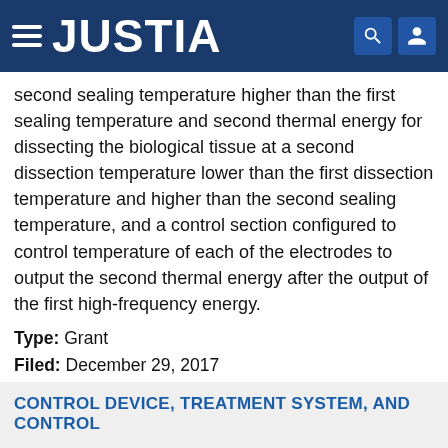JUSTIA
second sealing temperature higher than the first sealing temperature and second thermal energy for dissecting the biological tissue at a second dissection temperature lower than the first dissection temperature and higher than the second sealing temperature, and a control section configured to control temperature of each of the electrodes to output the second thermal energy after the output of the first high-frequency energy.
Type: Grant
Filed: December 29, 2017
Date of Patent: October 26, 2021
Assignee: OLYMPUS CORPORATION
Inventors: Yoshitaka Honda, Tsuyoshi Hayashida, Kazue Tanaka, Sumihito Konishi
CONTROL DEVICE, TREATMENT SYSTEM, AND CONTROL